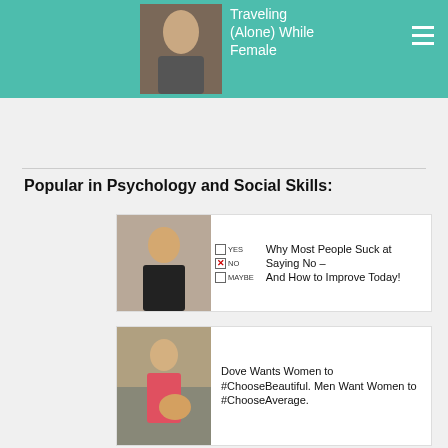Traveling (Alone) While Female
Popular in Psychology and Social Skills:
[Figure (photo): Article card with woman and yes/no/maybe checkboxes — Why Most People Suck at Saying No – And How to Improve Today!]
Why Most People Suck at Saying No – And How to Improve Today!
[Figure (photo): Article card with woman holding a dog — Dove Wants Women to #ChooseBeautiful. Men Want Women to #ChooseAverage.]
Dove Wants Women to #ChooseBeautiful. Men Want Women to #ChooseAverage.